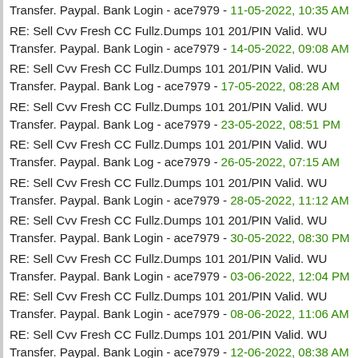Transfer. Paypal. Bank Login - ace7979 - 11-05-2022, 10:35 AM
RE: Sell Cvv Fresh CC Fullz.Dumps 101 201/PIN Valid. WU Transfer. Paypal. Bank Login - ace7979 - 14-05-2022, 09:08 AM
RE: Sell Cvv Fresh CC Fullz.Dumps 101 201/PIN Valid. WU Transfer. Paypal. Bank Log - ace7979 - 17-05-2022, 08:28 AM
RE: Sell Cvv Fresh CC Fullz.Dumps 101 201/PIN Valid. WU Transfer. Paypal. Bank Log - ace7979 - 23-05-2022, 08:51 PM
RE: Sell Cvv Fresh CC Fullz.Dumps 101 201/PIN Valid. WU Transfer. Paypal. Bank Log - ace7979 - 26-05-2022, 07:15 AM
RE: Sell Cvv Fresh CC Fullz.Dumps 101 201/PIN Valid. WU Transfer. Paypal. Bank Login - ace7979 - 28-05-2022, 11:12 AM
RE: Sell Cvv Fresh CC Fullz.Dumps 101 201/PIN Valid. WU Transfer. Paypal. Bank Login - ace7979 - 30-05-2022, 08:30 PM
RE: Sell Cvv Fresh CC Fullz.Dumps 101 201/PIN Valid. WU Transfer. Paypal. Bank Login - ace7979 - 03-06-2022, 12:04 PM
RE: Sell Cvv Fresh CC Fullz.Dumps 101 201/PIN Valid. WU Transfer. Paypal. Bank Login - ace7979 - 08-06-2022, 11:06 AM
RE: Sell Cvv Fresh CC Fullz.Dumps 101 201/PIN Valid. WU Transfer. Paypal. Bank Login - ace7979 - 12-06-2022, 08:38 AM
RE: Sell Cvv Fresh CC Fullz.Dumps 101 201/PIN Valid. WU Transfer. Paypal. Bank Login - ace7979 - 13-06-2022, 10:50 AM
RE: Sell Cvv Fresh CC Fullz.Dumps 101 201/PIN Valid. WU Transfer. Paypal. Bank Login - ace7979 - (cut off)